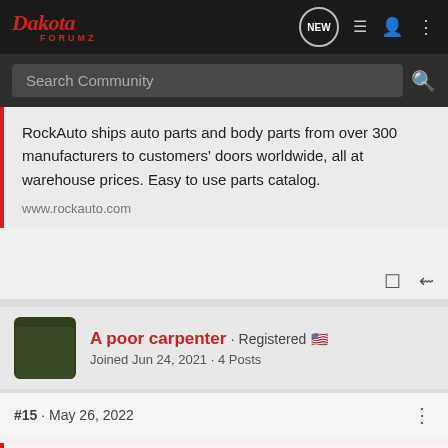Dakota ForumZ
RockAuto ships auto parts and body parts from over 300 manufacturers to customers' doors worldwide, all at warehouse prices. Easy to use parts catalog.
www.rockauto.com
A poor carpenter · Registered
Joined Jun 24, 2021 · 4 Posts
#15 · May 26, 2022
kountry boy said: